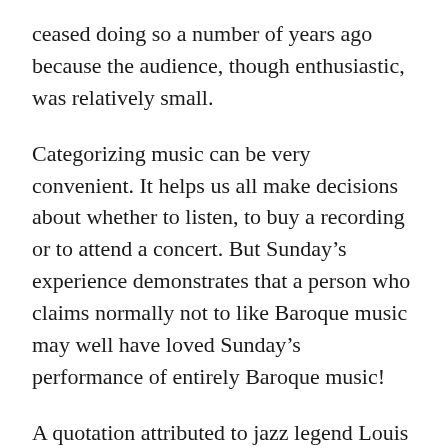ceased doing so a number of years ago because the audience, though enthusiastic, was relatively small.
Categorizing music can be very convenient. It helps us all make decisions about whether to listen, to buy a recording or to attend a concert. But Sunday's experience demonstrates that a person who claims normally not to like Baroque music may well have loved Sunday's performance of entirely Baroque music!
A quotation attributed to jazz legend Louis Armstrong goes as follows: “There is two kinds of music, the good and the bad. I play the good